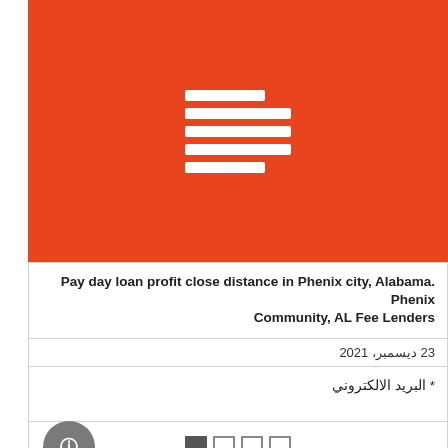[Figure (illustration): Red/orange banner with a white stacked horizontal bars icon (hamburger/list icon) centered in it]
Pay day loan profit close distance in Phenix city, Alabama. Phenix Community, AL Fee Lenders
23 ديسمبر، 2021
* البريد الالكتروني
[Figure (infographic): A row of grid/view toggle icons (filled square and three outlined squares) centered, with a circular grey button with an info/i symbol on the left]
البريد الالكتروني